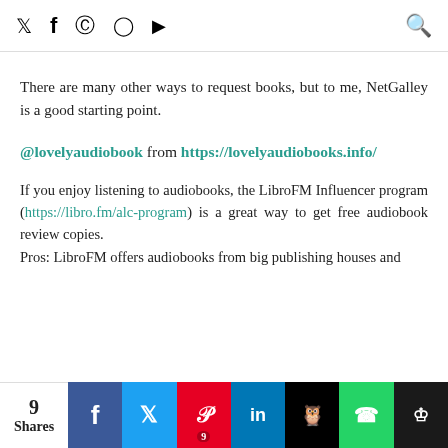Social media icon bar with Twitter, Facebook, Pinterest, Instagram, YouTube icons and search icon
There are many other ways to request books, but to me, NetGalley is a good starting point.
@lovelyaudiobook from https://lovelyaudiobooks.info/
If you enjoy listening to audiobooks, the LibroFM Influencer program (https://libro.fm/alc-program) is a great way to get free audiobook review copies.
Pros: LibroFM offers audiobooks from big publishing houses and
9 Shares | Share buttons: Facebook, Twitter, Pinterest (9), LinkedIn, Buffer, WhatsApp, MiloTree